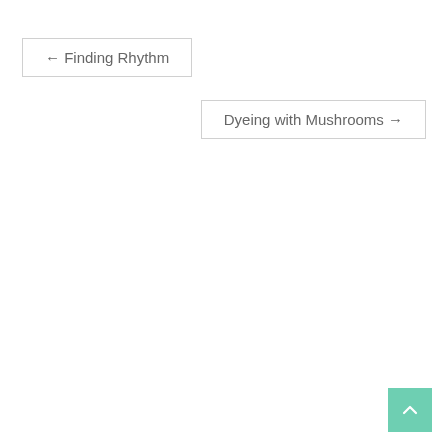← Finding Rhythm
Dyeing with Mushrooms →